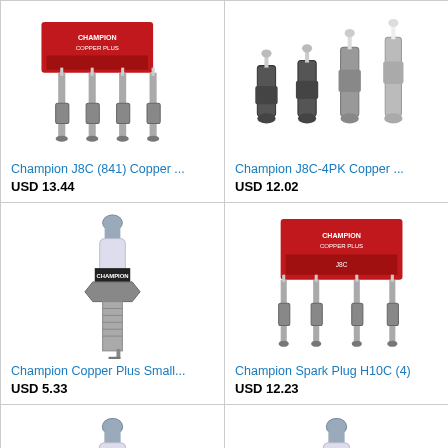[Figure (photo): Champion J8C (841) Copper spark plugs, 4-pack with red Champion box]
Champion J8C (841) Copper ...
USD 13.44
[Figure (photo): Champion J8C-4PK Copper spark plugs, set of 4]
Champion J8C-4PK Copper ...
USD 12.02
[Figure (photo): Champion Copper Plus Small Engine single spark plug with Champion label]
Champion Copper Plus Small...
USD 5.33
[Figure (photo): Champion Spark Plug H10C set of 4 with red Champion Copper Plus box]
Champion Spark Plug H10C (4)
USD 12.23
[Figure (photo): Single Champion spark plug, partial view at bottom]
[Figure (photo): Single Champion spark plug, partial view at bottom right]